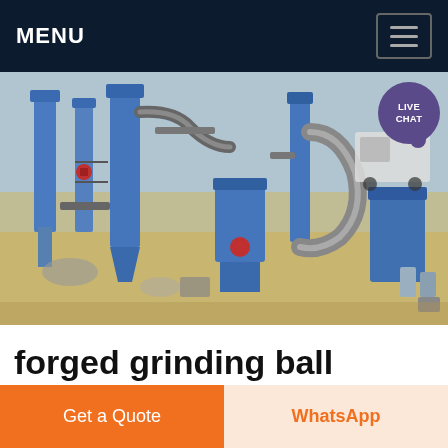MENU
[Figure (photo): Aerial/overhead view of an industrial grinding/milling plant with blue machinery, silos, conveyor pipes, and processing equipment on sandy ground. A white truck is visible in the background.]
forged grinding ball proces production
Get a Quote
WhatsApp